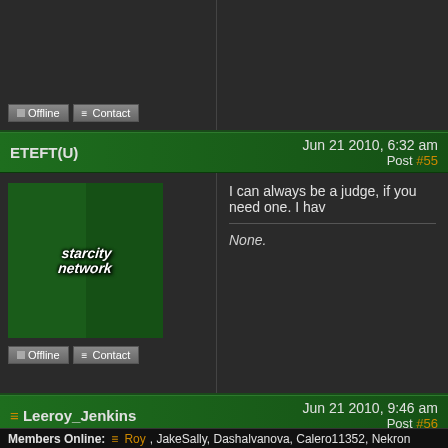[Figure (screenshot): Top partial forum post showing Offline and Contact buttons]
ETEFT(U)   Jun 21 2010, 6:32 am   Post #55
[Figure (logo): Starcity Network logo on green background, avatar]
I can always be a judge, if you need one. I hav
None.
Leeroy_Jenkins   Jun 21 2010, 9:46 am   Post #56
[Figure (photo): Dark castle/haunted house image (Leeroy Jenkins avatar)]
[Figure (photo): Gold picture frame on white background]
Members Online:  Roy, JakeSally, Dashalvanova, Calero11352, Nekron